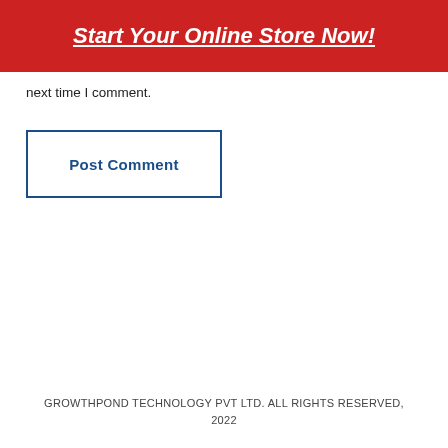Start Your Online Store Now!
next time I comment.
Post Comment
GROWTHPOND TECHNOLOGY PVT LTD. ALL RIGHTS RESERVED, 2022